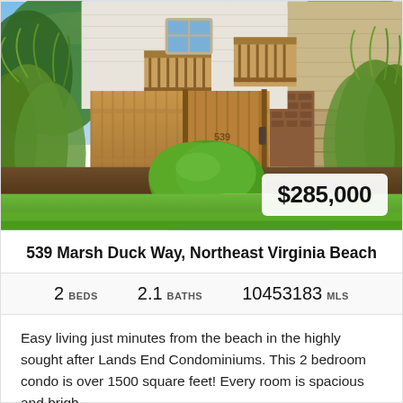[Figure (photo): Exterior photo of a residential condo/townhouse with a wooden fence gate, brick walls, lush green landscaping including ornamental grasses and a round shrub, concrete walkway, balconies visible above, and a blue sky with trees in the background.]
539 Marsh Duck Way, Northeast Virginia Beach
2 BEDS   2.1 BATHS   10453183 MLS
Easy living just minutes from the beach in the highly sought after Lands End Condominiums. This 2 bedroom condo is over 1500 square feet! Every room is spacious and brigh...